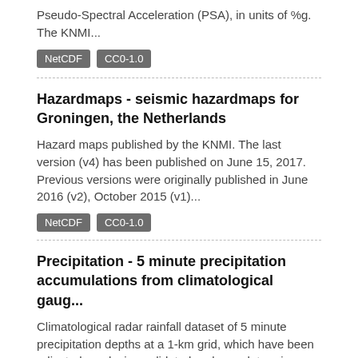Pseudo-Spectral Acceleration (PSA), in units of %g. The KNMI...
NetCDF   CC0-1.0
Hazardmaps - seismic hazardmaps for Groningen, the Netherlands
Hazard maps published by the KNMI. The last version (v4) has been published on June 15, 2017. Previous versions were originally published in June 2016 (v2), October 2015 (v1)...
NetCDF   CC0-1.0
Precipitation - 5 minute precipitation accumulations from climatological gaug...
Climatological radar rainfall dataset of 5 minute precipitation depths at a 1-km grid, which have been adjusted employing validated and complete rain gauge data from both KNMI...
NetCDF   CC0-1.0